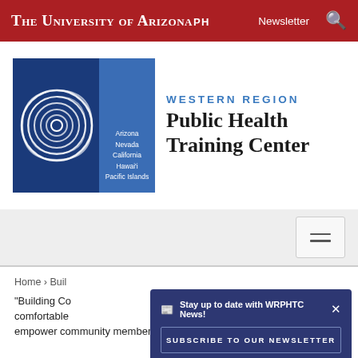The University of Arizona PH | Newsletter | Search
[Figure (logo): Western Region Public Health Training Center logo with spiral design and state names Arizona, Nevada, California, Hawai'i, Pacific Islands on blue background]
[Figure (other): Navigation toggle/hamburger button]
Home › Buil...
"Building Co... comfortable... empower community members to make healthy changes in their
Stay up to date with WRPHTC News! SUBSCRIBE TO OUR NEWSLETTER